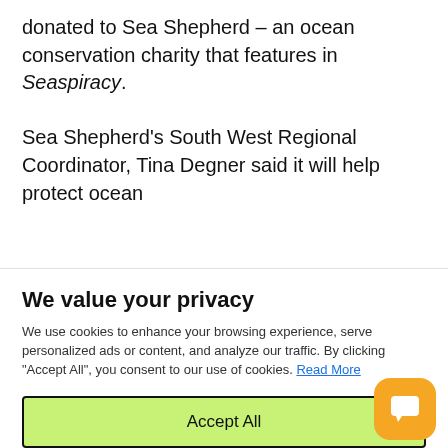donated to Sea Shepherd – an ocean conservation charity that features in Seaspiracy.
Sea Shepherd's South West Regional Coordinator, Tina Degner said it will help protect ocean
We value your privacy
We use cookies to enhance your browsing experience, serve personalized ads or content, and analyze our traffic. By clicking "Accept All", you consent to our use of cookies. Read More
Accept All
Customize
Reject All